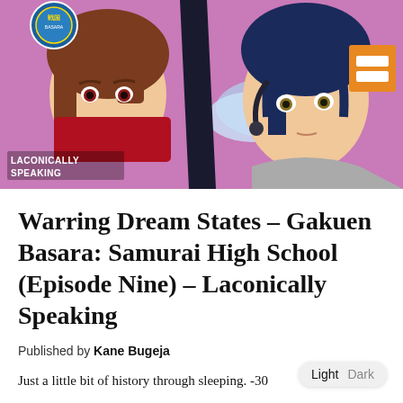[Figure (illustration): Anime-style illustration showing two characters from Gakuen Basara: Samurai High School against a pink/purple background. On the left is a character with brown hair wearing a red outfit, peeking around a diagonal divide. On the right is a character with dark blue hair in a grey outfit looking stern. There is a circular logo in the top-left corner and an orange square icon in the top-right. Text 'LACONICALLY SPEAKING' appears in the bottom-left of the image.]
Warring Dream States – Gakuen Basara: Samurai High School (Episode Nine) – Laconically Speaking
Published by Kane Bugeja
Just a little bit of history through sleeping. -30